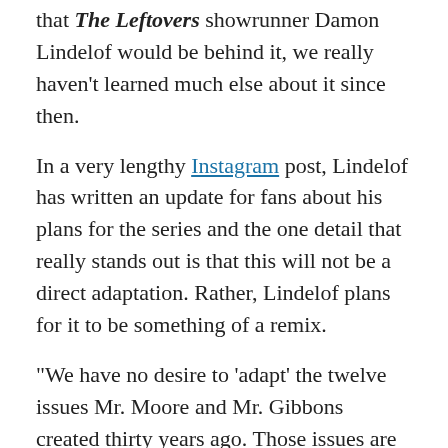that The Leftovers showrunner Damon Lindelof would be behind it, we really haven't learned much else about it since then.
In a very lengthy Instagram post, Lindelof has written an update for fans about his plans for the series and the one detail that really stands out is that this will not be a direct adaptation. Rather, Lindelof plans for it to be something of a remix.
“We have no desire to ‘adapt’ the twelve issues Mr. Moore and Mr. Gibbons created thirty years ago. Those issues are sacred ground and will not be retread nor recreated nor reproduced nor rebooted.”
“They will however be remixed. Because the bass lines in those familiar tracks are just too good and we’d be fools